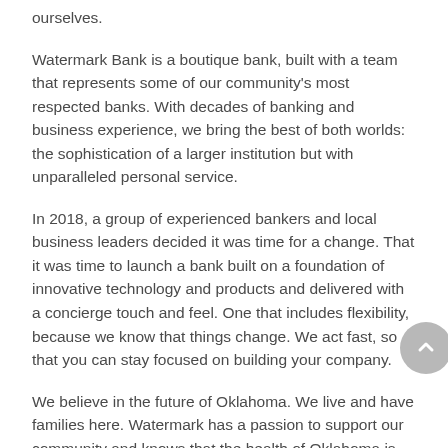ourselves.
Watermark Bank is a boutique bank, built with a team that represents some of our community's most respected banks. With decades of banking and business experience, we bring the best of both worlds: the sophistication of a larger institution but with unparalleled personal service.
In 2018, a group of experienced bankers and local business leaders decided it was time for a change. That it was time to launch a bank built on a foundation of innovative technology and products and delivered with a concierge touch and feel. One that includes flexibility, because we know that things change. We act fast, so that you can stay focused on building your company.
We believe in the future of Oklahoma. We live and have families here. Watermark has a passion to support our community and knows that the health of Oklahoma is